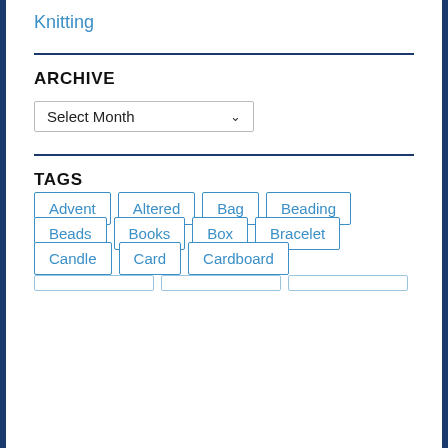Knitting
ARCHIVE
Select Month
TAGS
Advent
Altered
Bag
Beading
Beads
Books
Box
Bracelet
Candle
Card
Cardboard